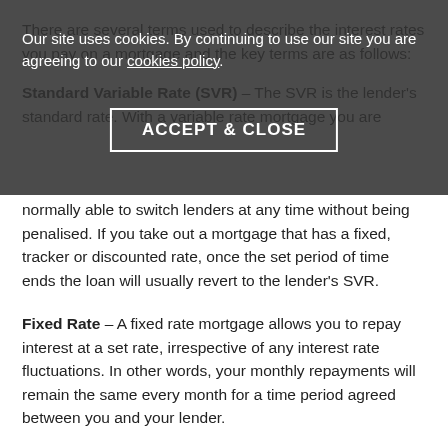There are several terms used to describe the interest rates you pay on a mortgage and the key terms are as follows:
Our site uses cookies. By continuing to use our site you are agreeing to our cookies policy.
ACCEPT & CLOSE
Standard Variable Rate (SVR) – The SVR is the lender's standard rate. With a variable rate mortgage you are normally able to switch lenders at any time without being penalised. If you take out a mortgage that has a fixed, tracker or discounted rate, once the set period of time ends the loan will usually revert to the lender's SVR.
Fixed Rate – A fixed rate mortgage allows you to repay interest at a set rate, irrespective of any interest rate fluctuations. In other words, your monthly repayments will remain the same every month for a time period agreed between you and your lender.
Tracker – A tracker mortgage usually tracks for a set period any movement in an index specified by the lender;